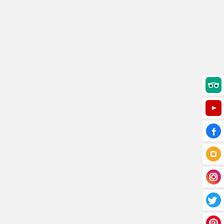[Figure (other): Vertical sidebar of social media icons on the right edge: TripAdvisor (green rounded square), YouTube (red square), Facebook (blue circle), a camera/phone icon (orange circle), Instagram (gradient circle), Twitter (blue bird circle), Pinterest (red circle)]